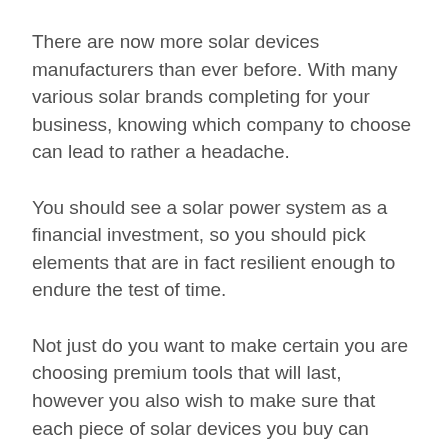There are now more solar devices manufacturers than ever before. With many various solar brands completing for your business, knowing which company to choose can lead to rather a headache.
You should see a solar power system as a financial investment, so you should pick elements that are in fact resilient enough to endure the test of time.
Not just do you want to make certain you are choosing premium tools that will last, however you also wish to make sure that each piece of solar devices you buy can actually perform as advertised.